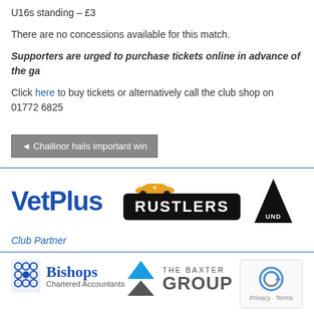U16s standing – £3
There are no concessions available for this match.
Supporters are urged to purchase tickets online in advance of the ga
Click here to buy tickets or alternatively call the club shop on 01772 6825
◄ Challinor hails important win
[Figure (logo): VetPlus sponsor logo in blue bold text]
[Figure (logo): Rustlers burger brand logo - white text on black badge with car on top]
[Figure (logo): Under Armour partial logo - black chevron shape with UNDR text]
Club Partner
[Figure (logo): Bishops Chartered Accountants logo with blue lattice icon and serif text]
[Figure (logo): The Baxter Group logo with triangle pyramid graphic]
[Figure (logo): reCAPTCHA widget with Privacy and Terms links]